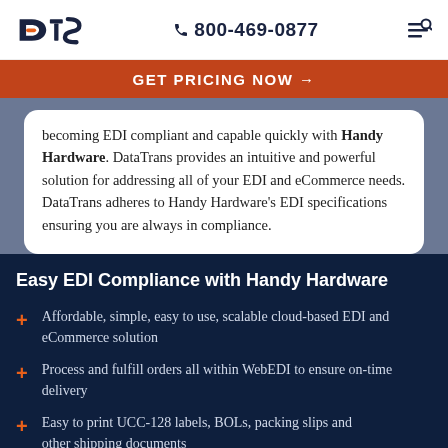DTS  800-469-0877
GET PRICING NOW →
becoming EDI compliant and capable quickly with Handy Hardware. DataTrans provides an intuitive and powerful solution for addressing all of your EDI and eCommerce needs. DataTrans adheres to Handy Hardware's EDI specifications ensuring you are always in compliance.
Easy EDI Compliance with Handy Hardware
Affordable, simple, easy to use, scalable cloud-based EDI and eCommerce solution
Process and fulfill orders all within WebEDI to ensure on-time delivery
Easy to print UCC-128 labels, BOLs, packing slips and other shipping documents